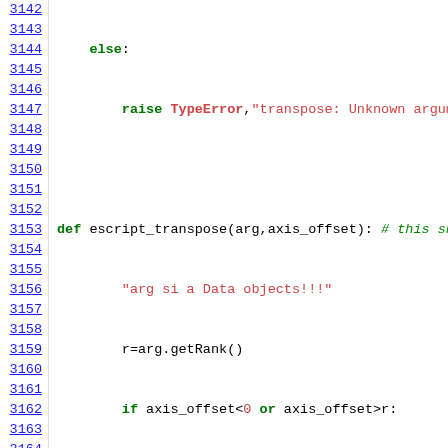[Figure (screenshot): Python source code viewer showing lines 3142-3163, with syntax highlighting. Line numbers on the left in blue/underlined, code on the right with keywords in green bold, strings in red, comments in green italic.]